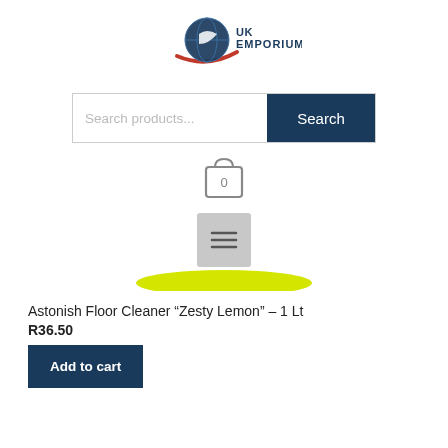[Figure (logo): UK Emporium logo with stylized globe and swoosh in blue and red, text 'UK EMPORIUM' in dark blue]
[Figure (screenshot): Search bar with placeholder 'Search products...' and dark blue 'Search' button]
[Figure (screenshot): Shopping cart icon with '0' badge]
[Figure (screenshot): Grey hamburger menu button with three lines]
[Figure (screenshot): Yellow pill/oval shape - partial product image visible at top]
Astonish Floor Cleaner “Zesty Lemon” – 1 Lt
R36.50
Add to cart